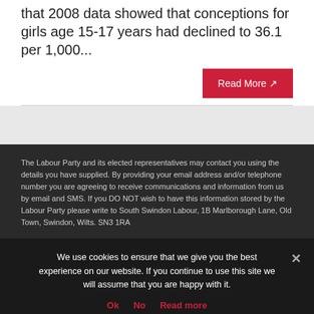that 2008 data showed that conceptions for girls age 15-17 years had declined to 36.1 per 1,000...
Read More
The Labour Party and its elected representatives may contact you using the details you have supplied. By providing your email address and/or telephone number you are agreeing to receive communications and information from us by email and SMS. If you DO NOT wish to have this information stored by the Labour Party please write to South Swindon Labour, 1B Marlborough Lane, Old Town, Swindon, Wilts. SN3 1RA
We use cookies to ensure that we give you the best experience on our website. If you continue to use this site we will assume that you are happy with it.
Ok   No   Read more